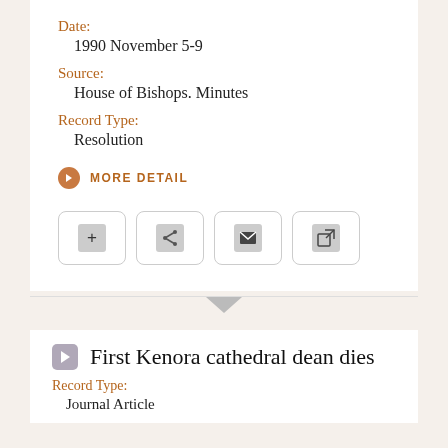Date:
1990 November 5-9
Source:
House of Bishops. Minutes
Record Type:
Resolution
MORE DETAIL
[Figure (other): Four action buttons: add (+), share, email, and external link]
First Kenora cathedral dean dies
Record Type:
Journal Article